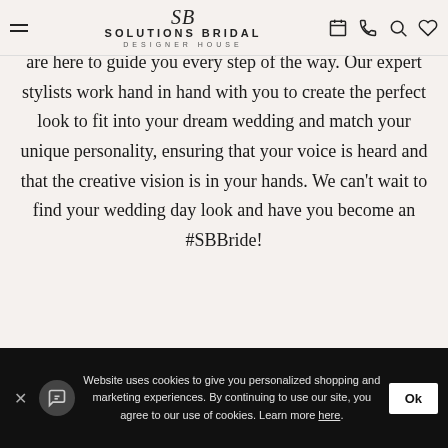Solutions Bridal Designer House — navigation header with hamburger menu, logo, calendar, phone, search, and heart icons
are here to guide you every step of the way. Our expert stylists work hand in hand with you to create the perfect look to fit into your dream wedding and match your unique personality, ensuring that your voice is heard and that the creative vision is in your hands. We can't wait to find your wedding day look and have you become an #SBBride!
Website uses cookies to give you personalized shopping and marketing experiences. By continuing to use our site, you agree to our use of cookies. Learn more here.